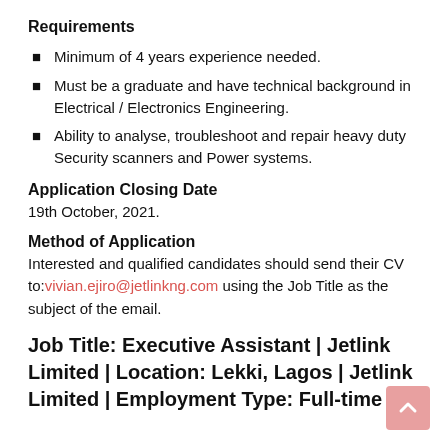Requirements
Minimum of 4 years experience needed.
Must be a graduate and have technical background in Electrical / Electronics Engineering.
Ability to analyse, troubleshoot and repair heavy duty Security scanners and Power systems.
Application Closing Date
19th October, 2021.
Method of Application
Interested and qualified candidates should send their CV to:vivian.ejiro@jetlinkng.com using the Job Title as the subject of the email.
Job Title: Executive Assistant | Jetlink Limited | Location: Lekki, Lagos | Jetlink Limited | Employment Type: Full-time